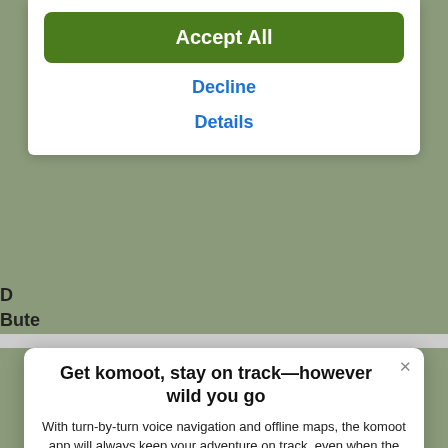Accept All
Decline
Details
D
Bute
Get komoot, stay on track—however wild you go
With turn-by-turn voice navigation and offline maps, the komoot app will always keep your adventure on track, even when the internet's down or unreliable.
[Figure (logo): Download on the App Store button with Apple logo on black rounded rectangle background]